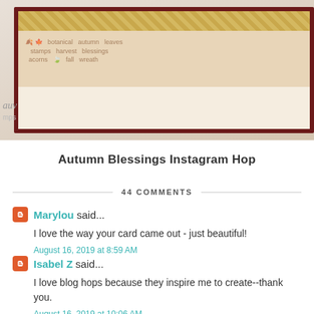[Figure (photo): Partial view of an autumn-themed greeting card with dark red border, plaid yellow strip, and leaf/botanical stamp designs on a beige background. Partial text visible on left: 'auv' and 'mps'.]
Autumn Blessings Instagram Hop
44 COMMENTS
Marylou said...
I love the way your card came out - just beautiful!
August 16, 2019 at 8:59 AM
Isabel Z said...
I love blog hops because they inspire me to create--thank you.
August 16, 2019 at 10:06 AM